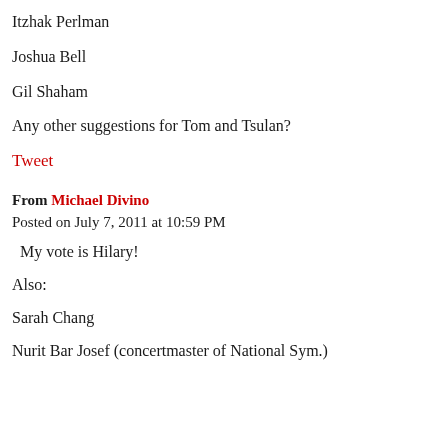Itzhak Perlman
Joshua Bell
Gil Shaham
Any other suggestions for Tom and Tsulan?
Tweet
From Michael Divino
Posted on July 7, 2011 at 10:59 PM
My vote is Hilary!
Also:
Sarah Chang
Nurit Bar Josef (concertmaster of National Sym.)